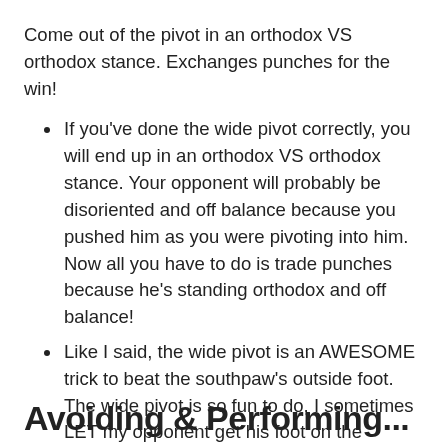Come out of the pivot in an orthodox VS orthodox stance. Exchanges punches for the win!
If you've done the wide pivot correctly, you will end up in an orthodox VS orthodox stance. Your opponent will probably be disoriented and off balance because you pushed him as you were pivoting into him. Now all you have to do is trade punches because he's standing orthodox and off balance!
Like I said, the wide pivot is an AWESOME trick to beat the southpaw's outside foot. The wide pivot is so fun to do, I sometimes LET my opponent get his foot on the outside.
Avoiding & Performing...